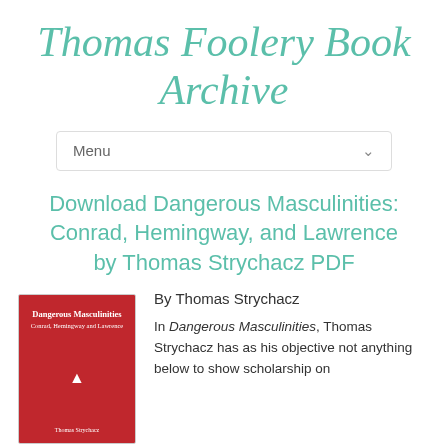Thomas Foolery Book Archive
[Figure (other): Menu navigation bar with 'Menu' label and dropdown arrow]
Download Dangerous Masculinities: Conrad, Hemingway, and Lawrence by Thomas Strychacz PDF
[Figure (illustration): Red book cover for 'Dangerous Masculinities: Conrad, Hemingway and Lawrence' by Thomas Strychacz]
By Thomas Strychacz
In Dangerous Masculinities, Thomas Strychacz has as his objective not anything below to show scholarship on